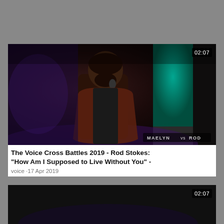[Figure (screenshot): Video thumbnail showing a man singing into a microphone on a dimly lit stage with a teal/green column in the background. Duration badge shows 02:07. Watermark reads MAELYN vs ROD.]
The Voice Cross Battles 2019 - Rod Stokes: "How Am I Supposed to Live Without You" -
voice -17 Apr 2019
[Figure (screenshot): Partial video thumbnail, dark scene, duration badge shows 02:07.]